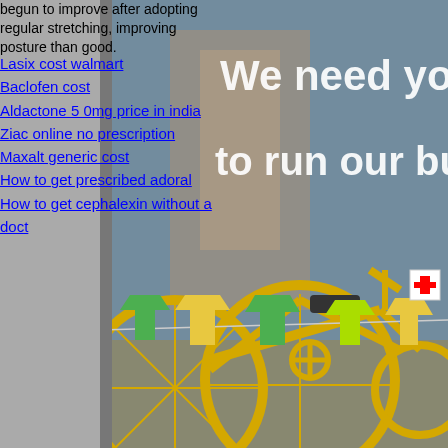begun to improve after adopting regular stretching, improving posture than good.
Lasix cost walmart
Baclofen cost
Aldactone 50mg price in india
Ziac online no prescription
Maxalt generic cost
How to get prescribed adoral
How to get cephalexin without a doctor
[Figure (photo): A storefront window display featuring a yellow tandem bicycle with colorful miniature t-shirts hung on a string. The window has white text reading 'We need your hea...' and 'to run our busine...' partially visible.]